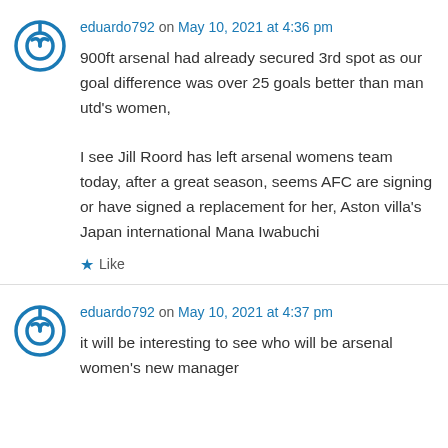eduardo792 on May 10, 2021 at 4:36 pm
900ft arsenal had already secured 3rd spot as our goal difference was over 25 goals better than man utd's women,

I see Jill Roord has left arsenal womens team today, after a great season, seems AFC are signing or have signed a replacement for her, Aston villa's Japan international Mana Iwabuchi
★ Like
eduardo792 on May 10, 2021 at 4:37 pm
it will be interesting to see who will be arsenal women's new manager